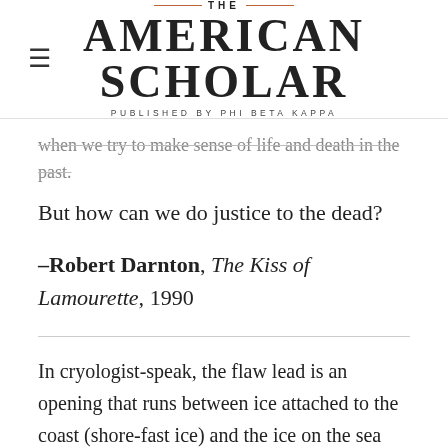THE AMERICAN SCHOLAR — PUBLISHED BY PHI BETA KAPPA
when we try to make sense of life and death in the past.
But how can we do justice to the dead?
–Robert Darnton, The Kiss of Lamourette, 1990
In cryologist-speak, the flaw lead is an opening that runs between ice attached to the coast (shore-fast ice) and the ice on the sea (drift ice). The flaw leads are unpredictable: during the autumn they can form